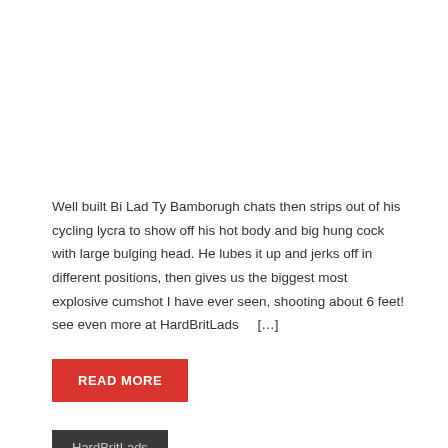Well built Bi Lad Ty Bamborugh chats then strips out of his cycling lycra to show off his hot body and big hung cock with large bulging head. He lubes it up and jerks off in different positions, then gives us the biggest most explosive cumshot I have ever seen, shooting about 6 feet! see even more at HardBritLads    […]
READ MORE
HardBritLads